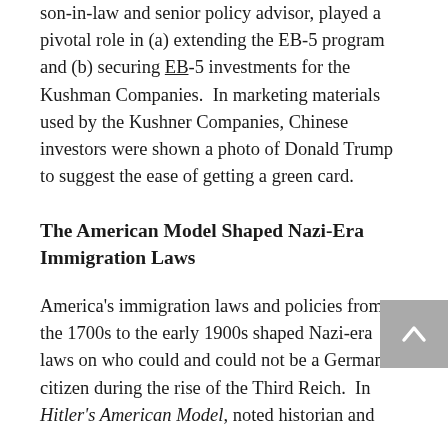son-in-law and senior policy advisor, played a pivotal role in (a) extending the EB-5 program and (b) securing EB-5 investments for the Kushman Companies.  In marketing materials used by the Kushner Companies, Chinese investors were shown a photo of Donald Trump to suggest the ease of getting a green card.
The American Model Shaped Nazi-Era Immigration Laws
America's immigration laws and policies from the 1700s to the early 1900s shaped Nazi-era laws on who could and could not be a German citizen during the rise of the Third Reich.  In Hitler's American Model, noted historian and